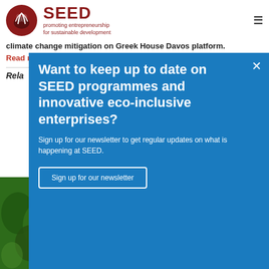SEED – promoting entrepreneurship for sustainable development
climate change mitigation on Greek House Davos platform.
Read more »
Rela
[Figure (screenshot): Blue popup modal overlay with newsletter sign-up prompt for SEED programmes. Title: 'Want to keep up to date on SEED programmes and innovative eco-inclusive enterprises?' Body text: 'Sign up for our newsletter to get regular updates on what is happening at SEED.' Button: 'Sign up for our newsletter'. Close (X) button in top right corner.]
[Figure (photo): Green foliage/nature photo partially visible in bottom-left corner behind popup overlay.]